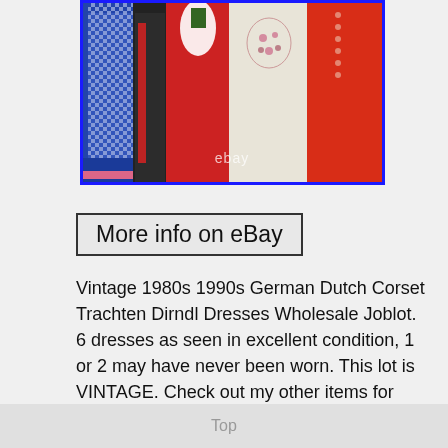[Figure (photo): Photo of vintage German Dutch Trachten Dirndl dresses hanging on a rack, including blue checkered, red, white with embroidery, and red with buttons dresses. eBay watermark visible at bottom center. Blue border around image.]
More info on eBay
Vintage 1980s 1990s German Dutch Corset Trachten Dirndl Dresses Wholesale Joblot. 6 dresses as seen in excellent condition, 1 or 2 may have never been worn. This lot is VINTAGE. Check out my other items for more vintage wholesale for your stalls, depen
Top